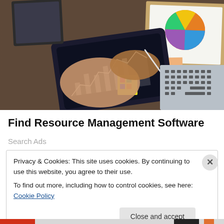[Figure (photo): Overhead view of a business meeting desk scene: hands holding a tablet showing a bar/area chart, a clipboard with pie charts and sticky notes, a laptop keyboard, and notebooks on a wooden desk.]
Find Resource Management Software
Search Ads
Privacy & Cookies: This site uses cookies. By continuing to use this website, you agree to their use.
To find out more, including how to control cookies, see here: Cookie Policy